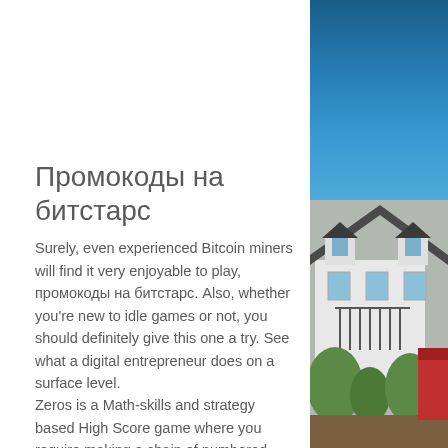Промокоды на битстарс
Surely, even experienced Bitcoin miners will find it very enjoyable to play, промокоды на битстарс. Also, whether you're new to idle games or not, you should definitely give this one a try. See what a digital entrepreneur does on a surface level.
Zeros is a Math-skills and strategy based High Score game where you require making a chain of numbered balls to get a sum of zero, промокоды на битстарс.
So' why not playing to learn a bit more about cryptocurrency and blockchain? One of the easiest and funniest ways to learn something new is by playing. Kids do it to learn math,
[Figure (photo): Right side of page showing a blue sky at the top and a house with white siding, dark roof, and trees/shrubs in the lower portion]